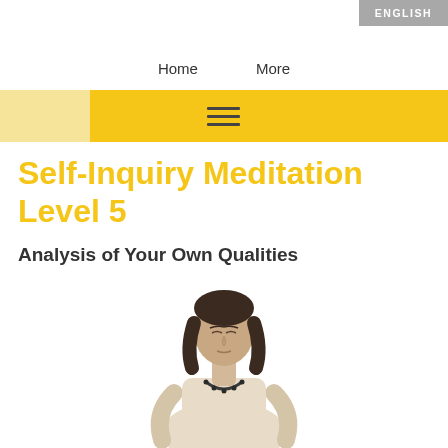ENGLISH
Home    More
[Figure (other): Yellow navigation menu bar with hamburger icon (three horizontal lines) on a golden yellow background, with a pale yellow section on the left]
Self-Inquiry Meditation Level 5
Analysis of Your Own Qualities
[Figure (photo): A woman with dark shoulder-length hair wearing a light cream/beige long-sleeve top and a dark beaded necklace, sitting in a meditation pose with eyes closed, hands resting on her lap, photographed against a white background]